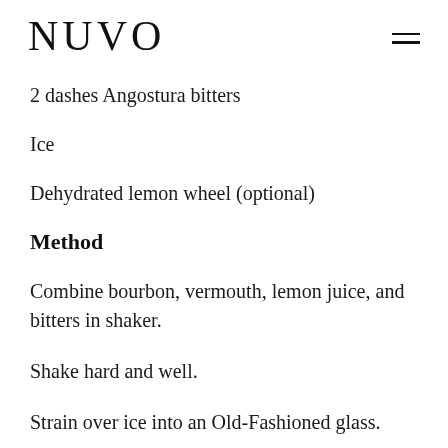NUVO
2 dashes Angostura bitters
Ice
Dehydrated lemon wheel (optional)
Method
Combine bourbon, vermouth, lemon juice, and bitters in shaker.
Shake hard and well.
Strain over ice into an Old-Fashioned glass.